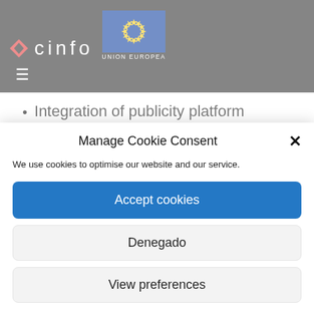[Figure (logo): cinfo logo with red diamond and white text on dark background header bar]
[Figure (logo): EU flag (blue with yellow stars) with UNION EUROPEA label below]
Integration of publicity platform
Manage Cookie Consent
We use cookies to optimise our website and our service.
Accept cookies
Denegado
View preferences